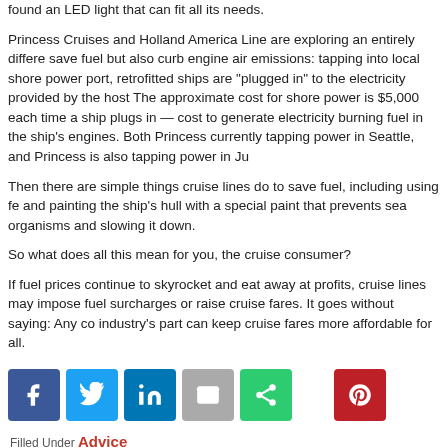found an LED light that can fit all its needs.
Princess Cruises and Holland America Line are exploring an entirely different way to save fuel but also curb engine air emissions: tapping into local shore power. While in port, retrofitted ships are "plugged in" to the electricity provided by the host city. The approximate cost for shore power is $5,000 each time a ship plugs in — less than the cost to generate electricity burning fuel in the ship's engines. Both Princess and Holland are currently tapping power in Seattle, and Princess is also tapping power in Ju
Then there are simple things cruise lines do to save fuel, including using few and painting the ship's hull with a special paint that prevents sea organisms and slowing it down.
So what does all this mean for you, the cruise consumer?
If fuel prices continue to skyrocket and eat away at profits, cruise lines may impose fuel surcharges or raise cruise fares. It goes without saying: Any co industry's part can keep cruise fares more affordable for all.
[Figure (infographic): Social sharing buttons: Facebook (blue), Twitter (light blue), LinkedIn (blue), Email (gray), Share (green), Pinterest (red)]
Filled Under Advice
You might also be interested in these articles: